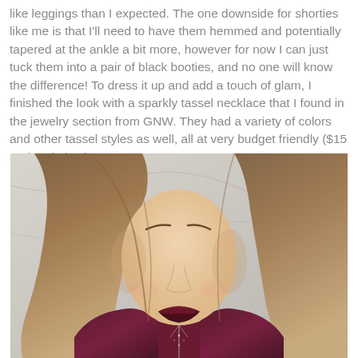like leggings than I expected. The one downside for shorties like me is that I'll need to have them hemmed and potentially tapered at the ankle a bit more, however for now I can just tuck them into a pair of black booties, and no one will know the difference! To dress it up and add a touch of glam, I finished the look with a sparkly tassel necklace that I found in the jewelry section from GNW. They had a variety of colors and other tassel styles as well, all at very budget friendly ($15 and under) prices.
[Figure (photo): Close-up portrait of a young woman with long brown ombre hair, wearing a deep burgundy/wine velvet top and a long sparkly tassel necklace. She has dark berry lipstick. The background is a blurred light marble or stone wall.]